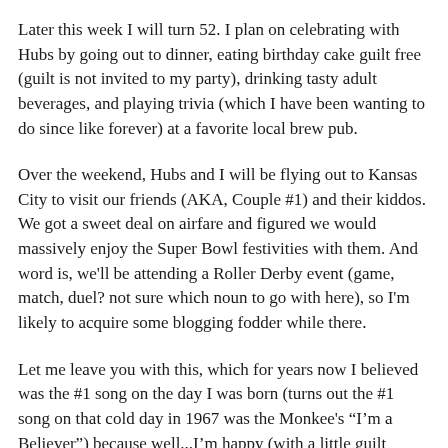Later this week I will turn 52. I plan on celebrating with Hubs by going out to dinner, eating birthday cake guilt free (guilt is not invited to my party), drinking tasty adult beverages, and playing trivia (which I have been wanting to do since like forever) at a favorite local brew pub.
Over the weekend, Hubs and I will be flying out to Kansas City to visit our friends (AKA, Couple #1) and their kiddos. We got a sweet deal on airfare and figured we would massively enjoy the Super Bowl festivities with them. And word is, we'll be attending a Roller Derby event (game, match, duel? not sure which noun to go with here), so I'm likely to acquire some blogging fodder while there.
Let me leave you with this, which for years now I believed was the #1 song on the day I was born (turns out the #1 song on that cold day in 1967 was the Monkee's “I'm a Believer”) because well...I'm happy (with a little guilt mixed in for good